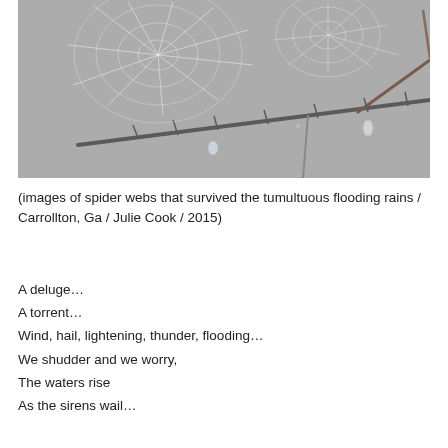[Figure (photo): Close-up photograph of bare tree branches with water droplets hanging from them and a spider web visible in the upper portion, set against a grey foggy background.]
(images of spider webs that survived the tumultuous flooding rains / Carrollton, Ga / Julie Cook / 2015)
A deluge…
A torrent…
Wind, hail, lightening, thunder, flooding…
We shudder and we worry,
The waters rise
As the sirens wail…